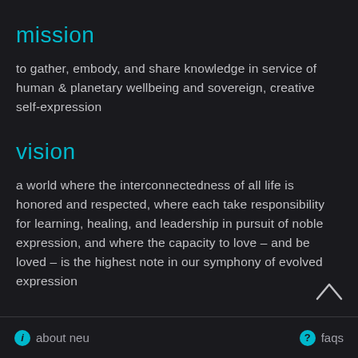mission
to gather, embody, and share knowledge in service of human & planetary wellbeing and sovereign, creative self-expression
vision
a world where the interconnectedness of all life is honored and respected, where each take responsibility for learning, healing, and leadership in pursuit of noble expression, and where the capacity to love – and be loved – is the highest note in our symphony of evolved expression
i about neu   faqs